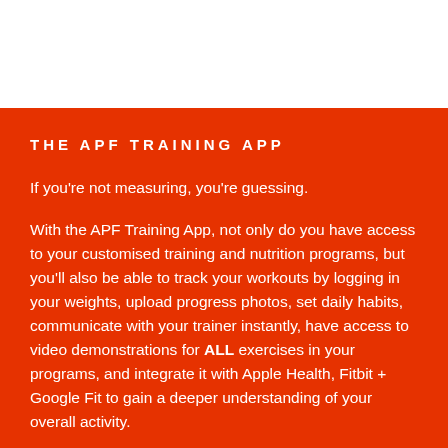THE APF TRAINING APP
If you're not measuring, you're guessing.
With the APF Training App, not only do you have access to your customised training and nutrition programs, but you'll also be able to track your workouts by logging in your weights, upload progress photos, set daily habits, communicate with your trainer instantly, have access to video demonstrations for ALL exercises in your programs, and integrate it with Apple Health, Fitbit + Google Fit to gain a deeper understanding of your overall activity.
All APF clients, whether online or face-to-face, receive access to our state of the art Training App to ensure a high